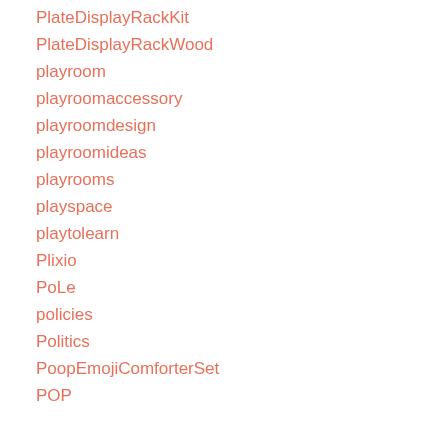PlateDisplayRackKit
PlateDisplayRackWood
playroom
playroomaccessory
playroomdesign
playroomideas
playrooms
playspace
playtolearn
Plixio
PoLe
policies
Politics
PoopEmojiComforterSet
POP